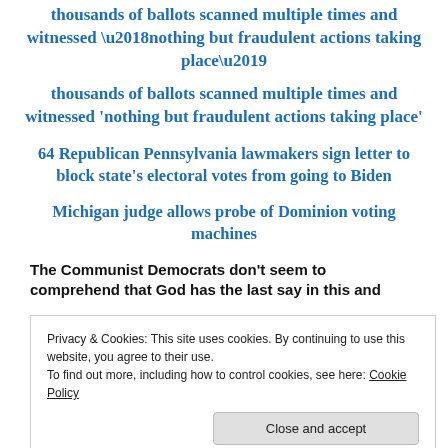thousands of ballots scanned multiple times and witnessed ‘nothing but fraudulent actions taking place’
64 Republican Pennsylvania lawmakers sign letter to block state’s electoral votes from going to Biden
Michigan judge allows probe of Dominion voting machines
The Communist Democrats don’t seem to comprehend that God has the last say in this and
Privacy & Cookies: This site uses cookies. By continuing to use this website, you agree to their use.
To find out more, including how to control cookies, see here: Cookie Policy
Close and accept
removes kings, and sets up kings, He gives wisdom to